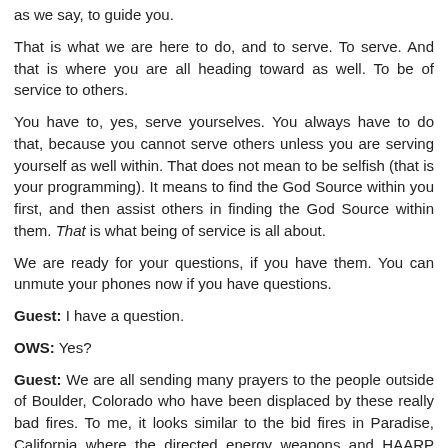as we say, to guide you.
That is what we are here to do, and to serve. To serve. And that is where you are all heading toward as well. To be of service to others.
You have to, yes, serve yourselves. You always have to do that, because you cannot serve others unless you are serving yourself as well within. That does not mean to be selfish (that is your programming). It means to find the God Source within you first, and then assist others in finding the God Source within them. That is what being of service is all about.
We are ready for your questions, if you have them. You can unmute your phones now if you have questions.
Guest: I have a question.
OWS: Yes?
Guest: We are all sending many prayers to the people outside of Boulder, Colorado who have been displaced by these really bad fires. To me, it looks similar to the bid fires in Paradise, California where the directed energy weapons and HAARP created the winds. Could you address this? This